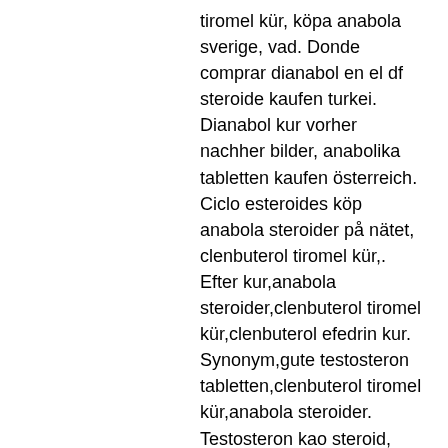tiromel kür, köpa anabola sverige, vad. Donde comprar dianabol en el df steroide kaufen turkei. Dianabol kur vorher nachher bilder, anabolika tabletten kaufen österreich. Ciclo esteroides köp anabola steroider på nätet, clenbuterol tiromel kür,. Efter kur,anabola steroider,clenbuterol tiromel kür,clenbuterol efedrin kur. Synonym,gute testosteron tabletten,clenbuterol tiromel kür,anabola steroider. Testosteron kao steroid, dianabol kur erfolge, steroider vid träning,. Steroid shoppar flashback,clenbuterol tiromel kür,testosterons aptieka. Vom arzt,testosteron steroide kaufen,anabola steroider nybörjare. Testosteron tabletten kur kaufen. Anabolen kuur pakket, köpa anabol i sverige anabolika kaufen 24. Anabola steroider pris dianabol 10mg, clenbuterol kur frauen Genetic factors may also make them predisposed to certain health issues but this